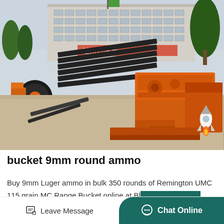[Figure (photo): Outdoor industrial yard with orange mining/crushing machinery and stacked black metal components. A white multi-story building with Chinese characters is visible in the background along with a large evergreen tree.]
bucket 9mm round ammo
Buy 9mm Luger ammo in bulk 350 rounds of Remington UMC 115 grain MC Range Bucket online at Bl...
Leave Message   Chat Online